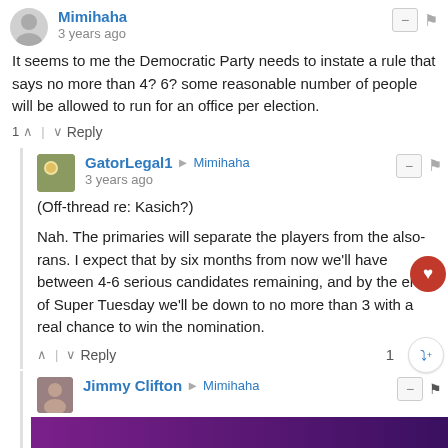Mimihaha
3 years ago
It seems to me the Democratic Party needs to instate a rule that says no more than 4? 6? some reasonable number of people will be allowed to run for an office per election.
1 ^ | v Reply
GatorLegal1 → Mimihaha
3 years ago
(Off-thread re: Kasich?)

Nah. The primaries will separate the players from the also-rans. I expect that by six months from now we'll have between 4-6 serious candidates remaining, and by the end of Super Tuesday we'll be down to no more than 3 with a real chance to win the nomination.
^ | v Reply
Jimmy Clifton → Mimihaha
3 years ago